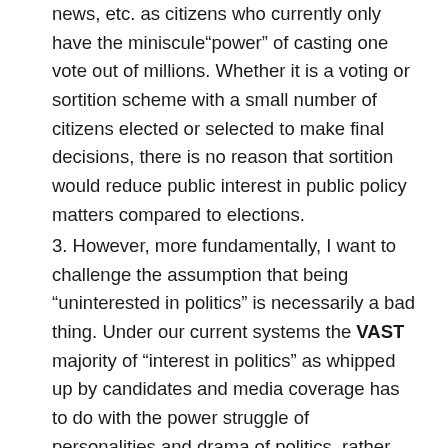news, etc. as citizens who currently only have the miniscule"power" of casting one vote out of millions. Whether it is a voting or sortition scheme with a small number of citizens elected or selected to make final decisions, there is no reason that sortition would reduce public interest in public policy matters compared to elections.
3. However, more fundamentally, I want to challenge the assumption that being “uninterested in politics” is necessarily a bad thing. Under our current systems the VAST majority of “interest in politics” as whipped up by candidates and media coverage has to do with the power struggle of personalities and drama of politics, rather than policy. Thus “politics” generally refers to that power struggle rather